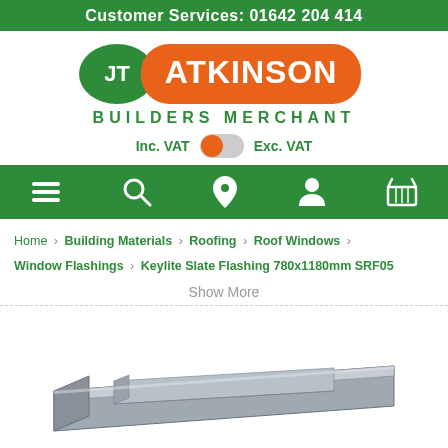Customer Services: 01642 204 414
[Figure (logo): JT Atkinson Builders Merchant logo — JT in green oval, ATKINSON on orange rounded rectangle, BUILDERS MERCHANT in green below]
Inc. VAT  Exc. VAT (with toggle switch)
[Figure (infographic): Green navigation bar with icons: hamburger menu, search, location pin, user/account, shopping basket]
Home > Building Materials > Roofing > Roof Windows > Window Flashings > Keylite Slate Flashing 780x1180mm SRF05
Show More
[Figure (photo): Product photo of Keylite Slate Flashing 780x1180mm SRF05 — grey metal flashing component viewed from above at an angle]